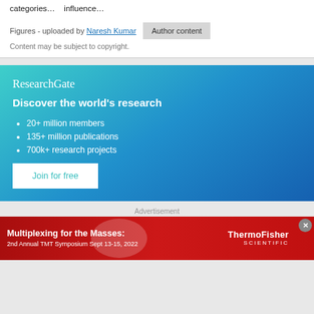categories...    influence...
Figures - uploaded by Naresh Kumar   Author content
Content may be subject to copyright.
ResearchGate
Discover the world's research
20+ million members
135+ million publications
700k+ research projects
Join for free
Advertisement
[Figure (infographic): ThermoFisher Scientific advertisement: Multiplexing for the Masses: 2nd Annual TMT Symposium Sept 13-15, 2022]